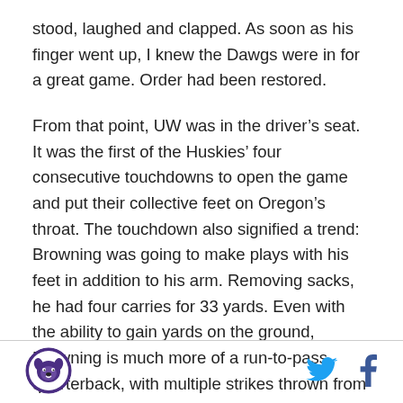stood, laughed and clapped. As soon as his finger went up, I knew the Dawgs were in for a great game. Order had been restored.
From that point, UW was in the driver's seat. It was the first of the Huskies' four consecutive touchdowns to open the game and put their collective feet on Oregon's throat. The touchdown also signified a trend: Browning was going to make plays with his feet in addition to his arm. Removing sacks, he had four carries for 33 yards. Even with the ability to gain yards on the ground, Browning is much more of a run-to-pass quarterback, with multiple strikes thrown from outside the pocket.
[Figure (logo): University of Washington Huskies circular logo with dog mascot, purple border]